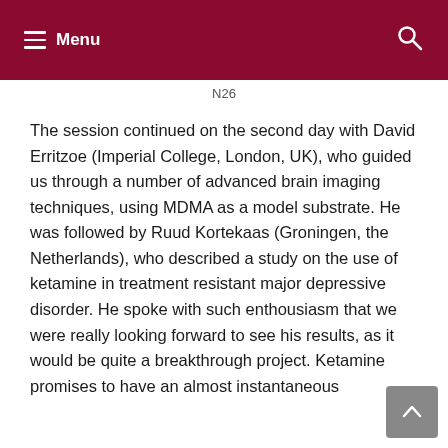Menu
N26
The session continued on the second day with David Erritzoe (Imperial College, London, UK), who guided us through a number of advanced brain imaging techniques, using MDMA as a model substrate. He was followed by Ruud Kortekaas (Groningen, the Netherlands), who described a study on the use of ketamine in treatment resistant major depressive disorder. He spoke with such enthousiasm that we were really looking forward to see his results, as it would be quite a breakthrough project. Ketamine promises to have an almost instantaneous